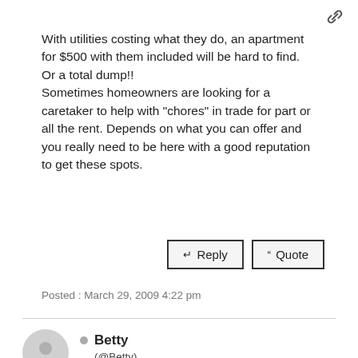With utilities costing what they do, an apartment for $500 with them included will be hard to find. Or a total dump!!
Sometimes homeowners are looking for a caretaker to help with "chores" in trade for part or all the rent. Depends on what you can offer and you really need to be here with a good reputation to get these spots.
↵ Reply   ““ Quote
Posted : March 29, 2009 4:22 pm
Betty (@Betty)